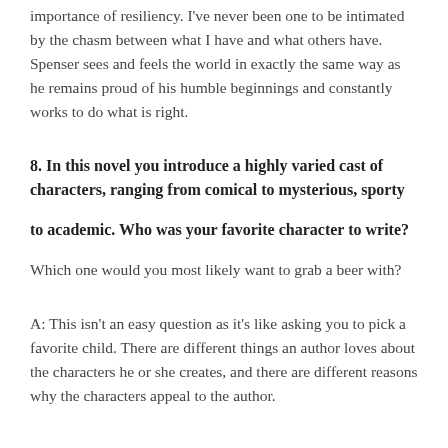importance of resiliency. I've never been one to be intimated by the chasm between what I have and what others have. Spenser sees and feels the world in exactly the same way as he remains proud of his humble beginnings and constantly works to do what is right.
8. In this novel you introduce a highly varied cast of characters, ranging from comical to mysterious, sporty to academic. Who was your favorite character to write?
Which one would you most likely want to grab a beer with?
A: This isn't an easy question as it's like asking you to pick a favorite child. There are different things an author loves about the characters he or she creates, and there are different reasons why the characters appeal to the author.